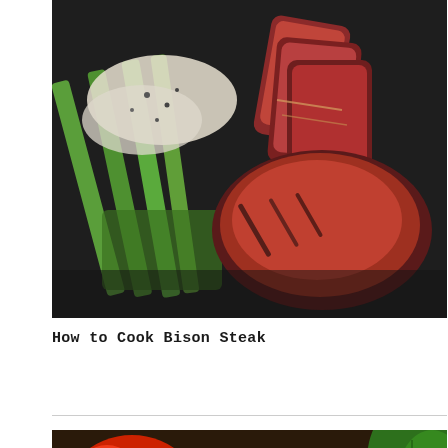[Figure (photo): Grilled bison steak slices fanned out on a dark slate surface alongside grilled asparagus spears drizzled with a creamy white sauce and black pepper.]
How to Cook Bison Steak
[Figure (photo): Close-up of fresh tomatoes and salad ingredients with green herb garnish, partially visible at the bottom of the page.]